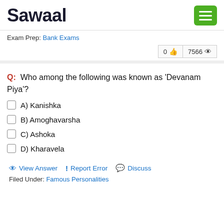Sawaal
Exam Prep: Bank Exams
0 👍  7566 👁
Q: Who among the following was known as 'Devanam Piya'?
A) Kanishka
B) Amoghavarsha
C) Ashoka
D) Kharavela
View Answer  ! Report Error  Discuss
Filed Under: Famous Personalities